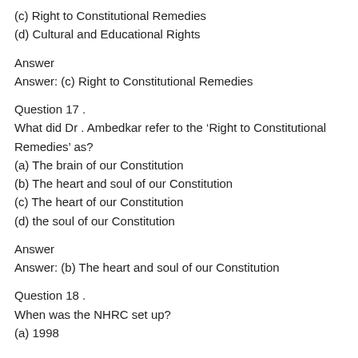(c) Right to Constitutional Remedies
(d) Cultural and Educational Rights
Answer
Answer: (c) Right to Constitutional Remedies
Question 17 .
What did Dr . Ambedkar refer to the ‘Right to Constitutional Remedies’ as?
(a) The brain of our Constitution
(b) The heart and soul of our Constitution
(c) The heart of our Constitution
(d) the soul of our Constitution
Answer
Answer: (b) The heart and soul of our Constitution
Question 18 .
When was the NHRC set up?
(a) 1998